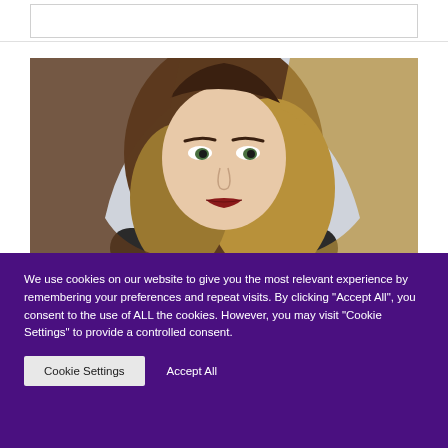[Figure (photo): A young woman with long ombre brown-to-blonde hair, wearing makeup with red lipstick, photographed against a light grey background. Portrait style headshot.]
We use cookies on our website to give you the most relevant experience by remembering your preferences and repeat visits. By clicking "Accept All", you consent to the use of ALL the cookies. However, you may visit "Cookie Settings" to provide a controlled consent.
Cookie Settings   Accept All